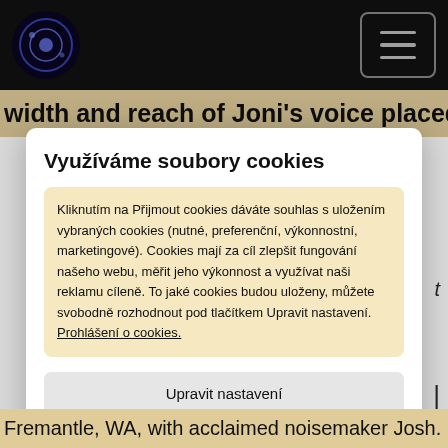width and reach of Joni's voice placed at the centre
Využíváme soubory cookies
Kliknutím na Přijmout cookies dáváte souhlas s uložením vybraných cookies (nutné, preferenční, výkonnostní, marketingové). Cookies mají za cíl zlepšit fungování našeho webu, měřit jeho výkonnost a využívat naši reklamu cíleně. To jaké cookies budou uloženy, můžete svobodně rozhodnout pod tlačítkem Upravit nastavení. Prohlášení o cookies.
Upravit nastavení
Přijmout cookies
Fremantle, WA, with acclaimed noisemaker Josh.